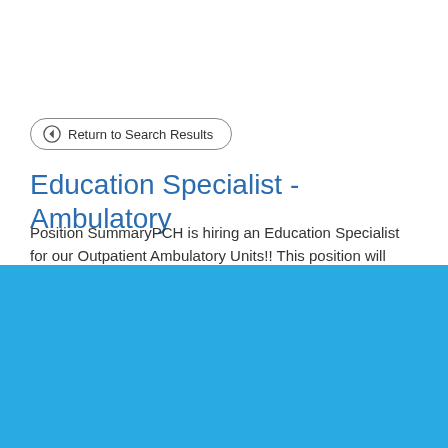Return to Search Results
Education Specialist - Ambulatory
Position SummaryPCH is hiring an Education Specialist for our Outpatient Ambulatory Units!! This position will
Cookie Settings
Got it
We use cookies so that we can remember you and understand how you use our site. If you do not agree with our use of cookies, please change the current settings found in our Cookie Policy. Otherwise, you agree to the use of the cookies as they are currently set.